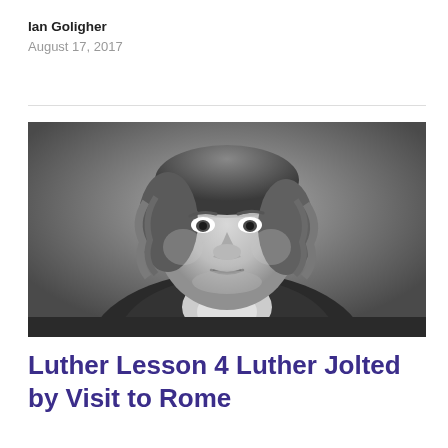Ian Goligher
August 17, 2017
[Figure (photo): Black and white portrait of Martin Luther, showing his face and upper body, a historical engraving-style image.]
Luther Lesson 4 Luther Jolted by Visit to Rome